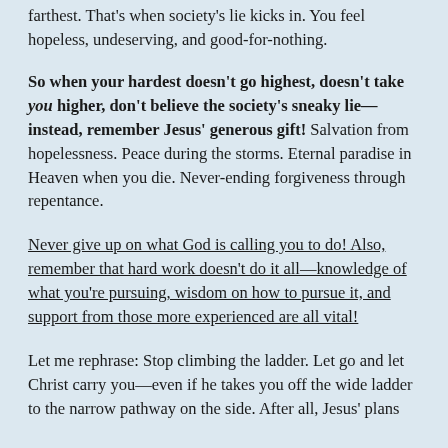farthest. That's when society's lie kicks in. You feel hopeless, undeserving, and good-for-nothing.
So when your hardest doesn't go highest, doesn't take you higher, don't believe the society's sneaky lie—instead, remember Jesus' generous gift! Salvation from hopelessness. Peace during the storms. Eternal paradise in Heaven when you die. Never-ending forgiveness through repentance.
Never give up on what God is calling you to do! Also, remember that hard work doesn't do it all—knowledge of what you're pursuing, wisdom on how to pursue it, and support from those more experienced are all vital!
Let me rephrase: Stop climbing the ladder. Let go and let Christ carry you—even if he takes you off the wide ladder to the narrow pathway on the side. After all, Jesus' plans